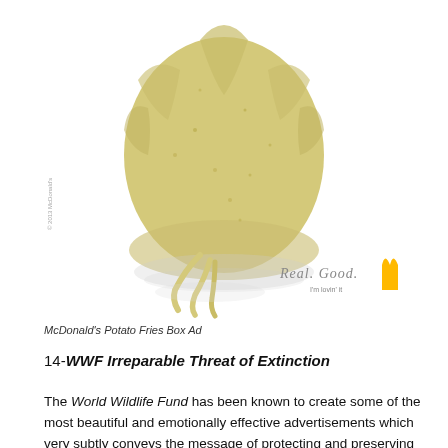[Figure (photo): McDonald's Potato Fries Box Ad — a potato shaped like a McDonald's fries box with two french fries sticking out at the bottom, on a white background. Bottom right shows 'Real. Good.' text in italic script and the golden McDonald's arches logo with 'I'm lovin' it' tagline.]
McDonald's Potato Fries Box Ad
14-WWF Irreparable Threat of Extinction
The World Wildlife Fund has been known to create some of the most beautiful and emotionally effective advertisements which very subtly conveys the message of protecting and preserving the lives of endangered and all other rare